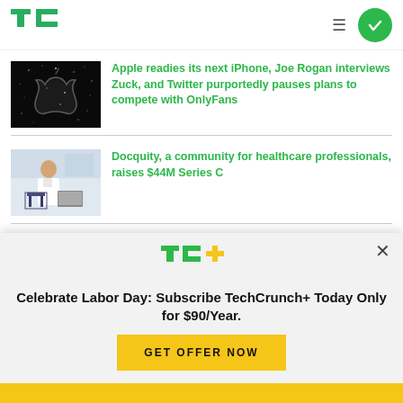TechCrunch logo and navigation
[Figure (photo): Dark background with Apple logo made of stars/lights]
Apple readies its next iPhone, Joe Rogan interviews Zuck, and Twitter purportedly pauses plans to compete with OnlyFans
[Figure (photo): Healthcare professional using laptop in office/clinic setting]
Docquity, a community for healthcare professionals, raises $44M Series C
[Figure (photo): Aston Martin car interior/exterior]
Aston Martin is finally
[Figure (logo): TechCrunch+ logo (TC+ in green and yellow)]
Celebrate Labor Day: Subscribe TechCrunch+ Today Only for $90/Year.
GET OFFER NOW